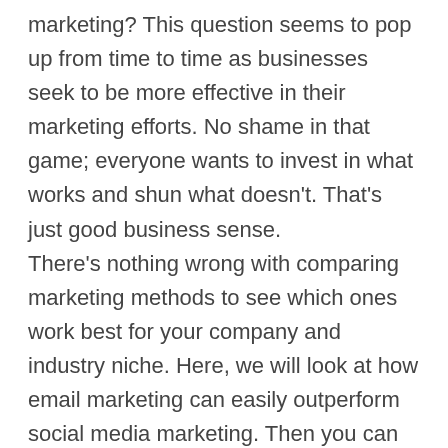marketing? This question seems to pop up from time to time as businesses seek to be more effective in their marketing efforts. No shame in that game; everyone wants to invest in what works and shun what doesn't. That's just good business sense. There's nothing wrong with comparing marketing methods to see which ones work best for your company and industry niche. Here, we will look at how email marketing can easily outperform social media marketing. Then you can judge for yourself which option may work best for your business.